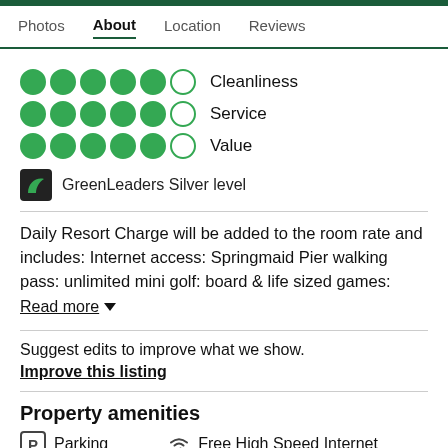Photos  About  Location  Reviews
Cleanliness
Service
Value
GreenLeaders Silver level
Daily Resort Charge will be added to the room rate and includes: Internet access: Springmaid Pier walking pass: unlimited mini golf: board & life sized games:
Read more
Suggest edits to improve what we show.
Improve this listing
Property amenities
Parking  Free High Speed Internet